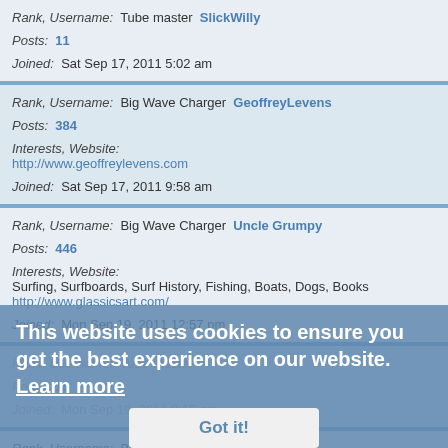Rank, Username: Tube master SlickWilly
Posts: 11
Joined: Sat Sep 17, 2011 5:02 am
Rank, Username: Big Wave Charger GeoffreyLevens
Posts: 384
Interests, Website: http://www.geoffreylevens.com
Joined: Sat Sep 17, 2011 9:58 am
Rank, Username: Big Wave Charger Uncle Grumpy
Posts: 446
Interests, Website: Surfing, Surfboards, Surf History, Fishing, Boats, Dogs, Books http://www.glassicsart.com/
Joined: Mon Sep 19, 2011 12:57 pm
Rank, Username: Tube master (partially visible)
Posts: 15
Joined: Mon Sep 19, 2011 8:15 pm
Rank, Username: Big Wave Charger Poobah
Posts: 224
Joined: Mon Sep 19, 2011 9:46 pm
This website uses cookies to ensure you get the best experience on our website. Learn more Got it!